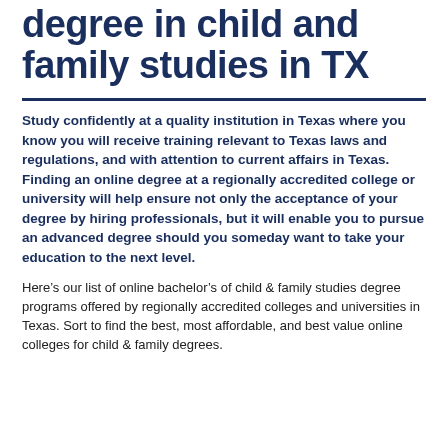degree in child and family studies in TX
Study confidently at a quality institution in Texas where you know you will receive training relevant to Texas laws and regulations, and with attention to current affairs in Texas. Finding an online degree at a regionally accredited college or university will help ensure not only the acceptance of your degree by hiring professionals, but it will enable you to pursue an advanced degree should you someday want to take your education to the next level.
Here’s our list of online bachelor’s of child & family studies degree programs offered by regionally accredited colleges and universities in Texas. Sort to find the best, most affordable, and best value online colleges for child & family degrees.